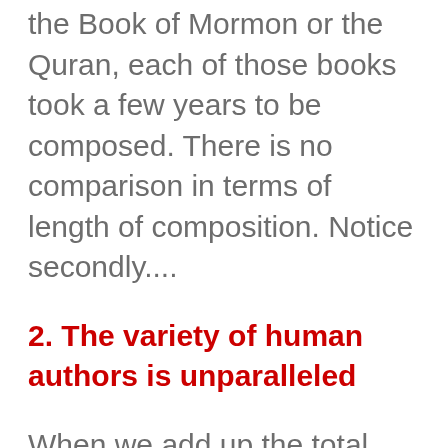the Book of Mormon or the Quran, each of those books took a few years to be composed. There is no comparison in terms of length of composition. Notice secondly....
2. The variety of human authors is unparalleled
When we add up the total human authors of the 66 books of the Bible, we tabulate around 40 in all. Such diversity included farmers (like Amos), priests (like Samuel), scribes (like Ezra), shepherds (Moses, David), prophets of